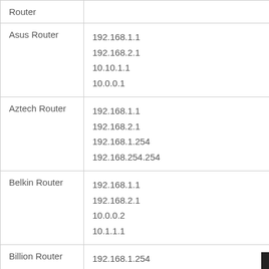| Router | IP Addresses |
| --- | --- |
| Router |  |
| Asus Router | 192.168.1.1
192.168.2.1
10.10.1.1
10.0.0.1 |
| Aztech Router | 192.168.1.1
192.168.2.1
192.168.1.254
192.168.254.254 |
| Belkin Router | 192.168.1.1
192.168.2.1
10.0.0.2
10.1.1.1 |
| Billion Router | 192.168.1.254
10.0.0.2 |
| (next row partial) |  |